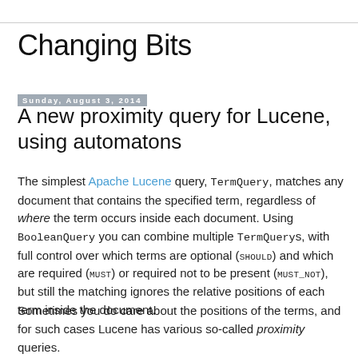Changing Bits
Sunday, August 3, 2014
A new proximity query for Lucene, using automatons
The simplest Apache Lucene query, TermQuery, matches any document that contains the specified term, regardless of where the term occurs inside each document. Using BooleanQuery you can combine multiple TermQueryS, with full control over which terms are optional (SHOULD) and which are required (MUST) or required not to be present (MUST_NOT), but still the matching ignores the relative positions of each term inside the document.
Sometimes you do care about the positions of the terms, and for such cases Lucene has various so-called proximity queries.